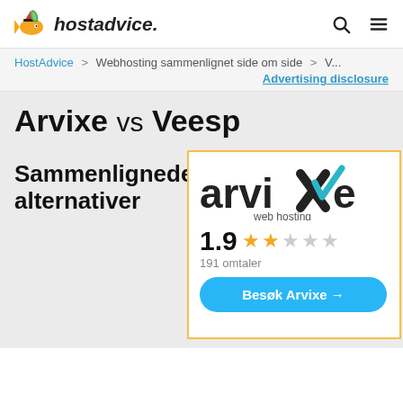hostadvice.
HostAdvice > Webhosting sammenlignet side om side > V...
Advertising disclosure
Arvixe vs Veesp
Sammenlignede alternativer
[Figure (logo): Arvixe web hosting logo with teal checkmark]
1.9 ★★☆☆☆ 191 omtaler
Besøk Arvixe →